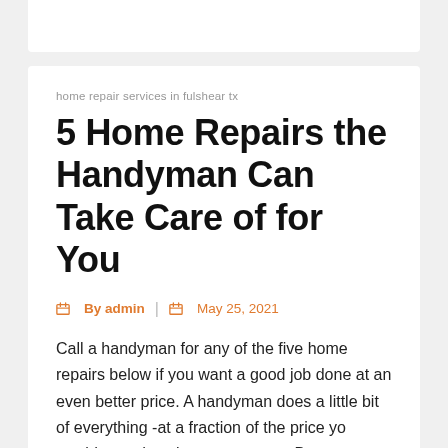home repair services in fulshear tx
5 Home Repairs the Handyman Can Take Care of for You
By admin | May 25, 2021
Call a handyman for any of the five home repairs below if you want a good job done at an even better price. A handyman does a little bit of everything -at a fraction of the price you would spend paying a contractor. Do not expect subpar work, as a handyman service